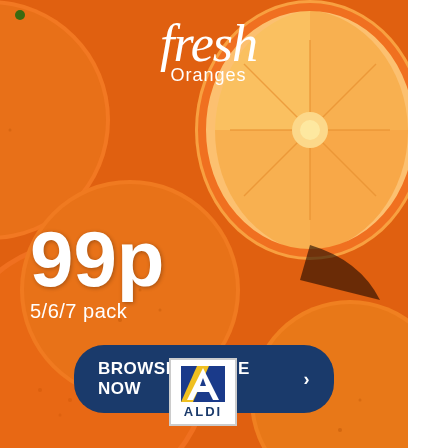[Figure (photo): Background photo of fresh oranges, including whole oranges and a halved orange showing the interior, filling the entire page]
fresh Oranges
99p
5/6/7 pack
BROWSE ONLINE NOW >
[Figure (logo): Aldi supermarket logo — blue and yellow square with stylized A symbol and ALDI text]